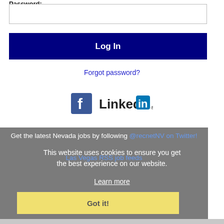Password:
[Figure (screenshot): Password input field (empty text box)]
[Figure (screenshot): Log In button (dark navy blue background, white bold text)]
Forgot password?
[Figure (logo): Facebook logo icon and LinkedIn logo side by side]
Get the latest Nevada jobs by following @recnetNV on Twitter!
Las Vegas RSS job feeds
This website uses cookies to ensure you get the best experience on our website.
Learn more
Got it!